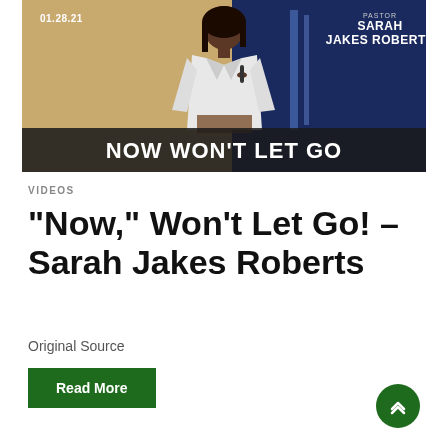[Figure (photo): Thumbnail image for a video sermon. Shows a woman in a white jacket holding a microphone on a stage with blue lighting. Text overlays: '01.28.21' top-left, 'PASTOR SARAH JAKES ROBERTS' top-right, 'NOW WON'T LET GO' bottom-center in large white bold text. Background is split between gold/tan on left and dark navy blue on right.]
VIDEOS
"Now," Won't Let Go! – Sarah Jakes Roberts
Original Source
Read More